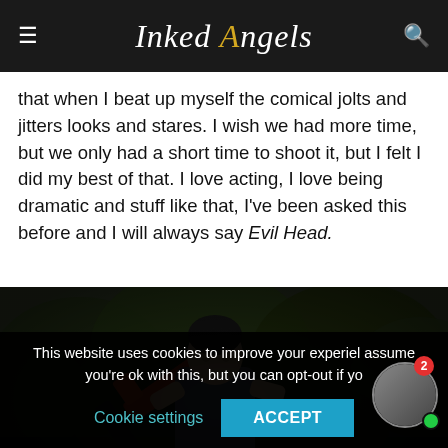Inked Angels
that when I beat up myself the comical jolts and jitters looks and stares. I wish we had more time, but we only had a short time to shoot it, but I felt I did my best of that. I love acting, I love being dramatic and stuff like that, I've been asked this before and I will always say Evil Head.
[Figure (photo): A man in a grey shirt holding a chainsaw outdoors among bushes and tall grass, posed in an action stance.]
This website uses cookies to improve your experience. I'll assume you're ok with this, but you can opt-out if yo...